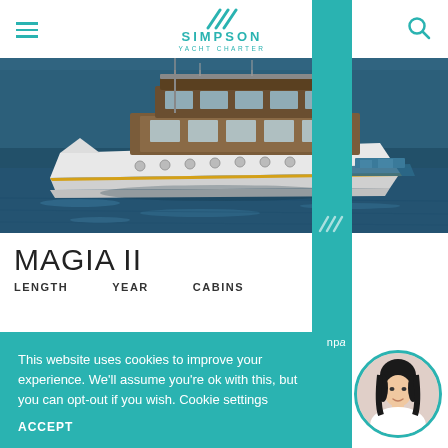SIMPSON YACHT CHARTER
[Figure (photo): Aerial/side view of a classic white motor yacht with wooden superstructure on dark blue water, with a smaller tender boat alongside at the stern.]
MAGIA II
LENGTH   YEAR   CABINS
This website uses cookies to improve your experience. We'll assume you're ok with this, but you can opt-out if you wish. Cookie settings
ACCEPT